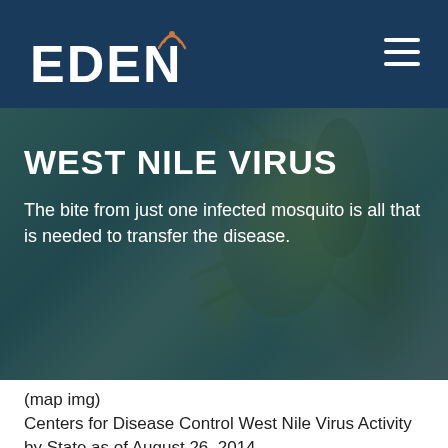EDEN
[Figure (photo): Close-up macro photograph of a mosquito on a green background, with a dark teal overlay. Text overlay reads: WEST NILE VIRUS — The bite from just one infected mosquito is all that is needed to transfer the disease.]
WEST NILE VIRUS
The bite from just one infected mosquito is all that is needed to transfer the disease.
(map img)
Centers for Disease Control West Nile Virus Activity by State as of August 26, 2014